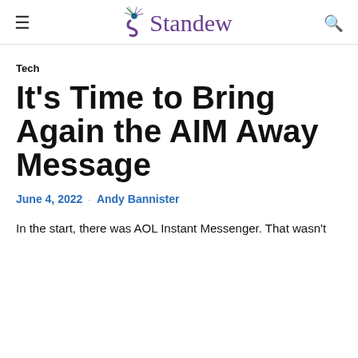Standew
Tech
It's Time to Bring Again the AIM Away Message
June 4, 2022 · Andy Bannister
In the start, there was AOL Instant Messenger. That wasn't